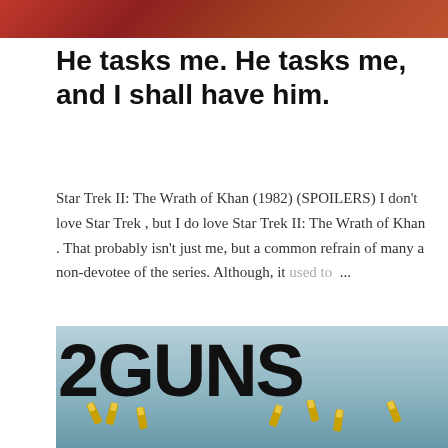[Figure (photo): Top portion of a movie image, appears to be Star Trek related, orange-red tones]
He tasks me. He tasks me, and I shall have him.
Star Trek II: The Wrath of Khan (1982) (SPOILERS) I don't love Star Trek , but I do love Star Trek II: The Wrath of Khan . That probably isn't just me, but a common refrain of many a non-devotee of the series. Although, it used to ...
SHARE    READ MORE
[Figure (photo): Movie poster for 2 Guns showing large bold text '2GUNS' with gold bullet casings falling against a light blue background]